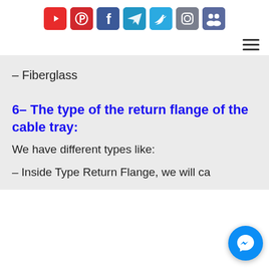[Figure (other): Row of 7 social media icon buttons: YouTube (red), Pinterest (red), Facebook (dark blue), Telegram (blue), Twitter (light blue), Instagram (gray-blue), Groups (dark blue)]
[Figure (other): Hamburger navigation menu icon (three horizontal lines) on the right side]
– Fiberglass
6– The type of the return flange of the cable tray:
We have different types like:
– Inside Type Return Flange, we will ca